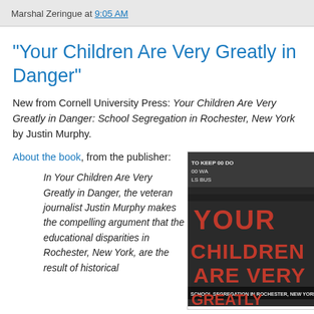Marshal Zeringue at 9:05 AM
"Your Children Are Very Greatly in Danger"
New from Cornell University Press: Your Children Are Very Greatly in Danger: School Segregation in Rochester, New York by Justin Murphy.
About the book, from the publisher:
In Your Children Are Very Greatly in Danger, the veteran journalist Justin Murphy makes the compelling argument that the educational disparities in Rochester, New York, are the result of historical
[Figure (photo): Book cover of 'Your Children Are Very Greatly in Danger: School Segregation in Rochester, New York' showing protest signs and large bold red text on dark background]